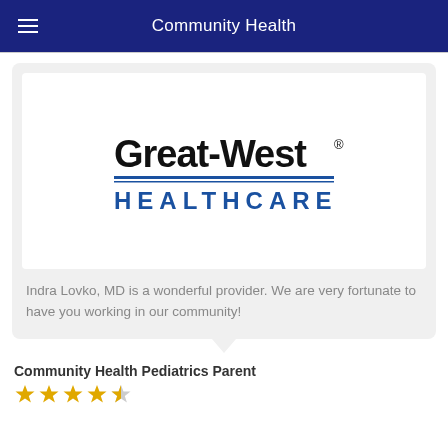Community Health
[Figure (logo): Great-West Healthcare logo — bold black text 'Great-West®' above a blue horizontal rule and blue bold text 'HEALTHCARE']
Indra Lovko, MD is a wonderful provider. We are very fortunate to have you working in our community!
Community Health Pediatrics Parent